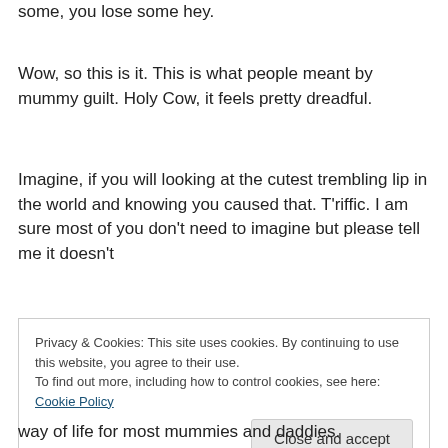some, you lose some hey.
Wow, so this is it. This is what people meant by mummy guilt. Holy Cow, it feels pretty dreadful.
Imagine, if you will looking at the cutest trembling lip in the world and knowing you caused that. T'riffic. I am sure most of you don't need to imagine but please tell me it doesn't
Privacy & Cookies: This site uses cookies. By continuing to use this website, you agree to their use.
To find out more, including how to control cookies, see here: Cookie Policy
way of life for most mummies and daddies.